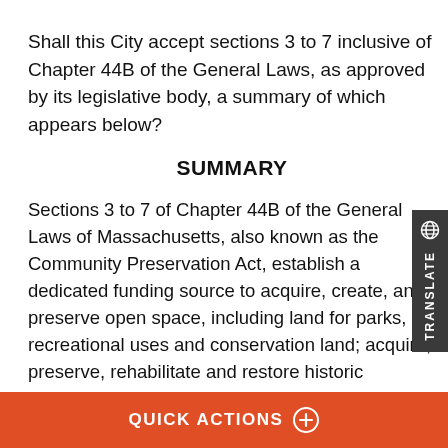Shall this City accept sections 3 to 7 inclusive of Chapter 44B of the General Laws, as approved by its legislative body, a summary of which appears below?
SUMMARY
Sections 3 to 7 of Chapter 44B of the General Laws of Massachusetts, also known as the Community Preservation Act, establish a dedicated funding source to acquire, create, and preserve open space, including land for parks, recreational uses and conservation land; acquire, preserve, rehabilitate and restore historic resources including historic building; acquire, create, preserve, rehabilitate and restore land for recreational use, including parks, playgrounds and athletic fields; and to
QUICK ACTIONS